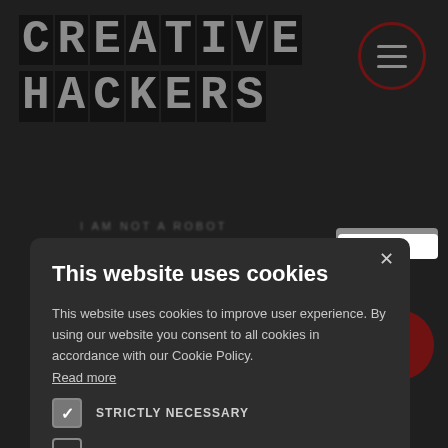[Figure (screenshot): Creative Hackers website header with blocky monospace logo on dark grey background and red-bordered hamburger menu icon in top right]
This website uses cookies
This website uses cookies to improve user experience. By using our website you consent to all cookies in accordance with our Cookie Policy. Read more
STRICTLY NECESSARY (checked)
PERFORMANCE (unchecked)
ACCEPT ALL | DECLINE ALL
SHOW DETAILS